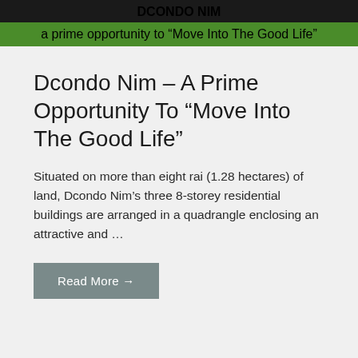DCONDO NIM
a prime opportunity to “Move Into The Good Life”
Dcondo Nim – A Prime Opportunity To “Move Into The Good Life”
Situated on more than eight rai (1.28 hectares) of land, Dcondo Nim’s three 8-storey residential buildings are arranged in a quadrangle enclosing an attractive and …
Read More →